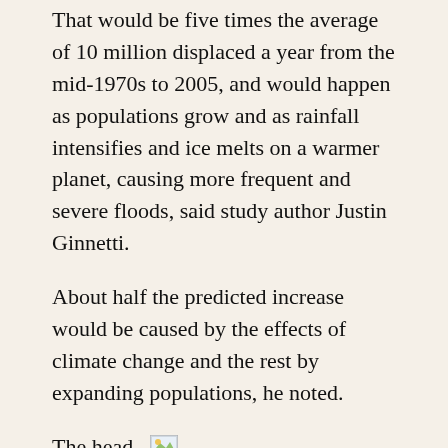That would be five times the average of 10 million displaced a year from the mid-1970s to 2005, and would happen as populations grow and as rainfall intensifies and ice melts on a warmer planet, causing more frequent and severe floods, said study author Justin Ginnetti.
About half the predicted increase would be caused by the effects of climate change and the rest by expanding populations, he noted.
The head [image] of data and analysis for the Geneva-based Internal Displacement Monitoring Centre (IDMC) said the forecasts were only a partial picture but as flooding accounts for more than half of climate-related displacement, the outlook was “grim”.
The numbers pushed out of their homes by river